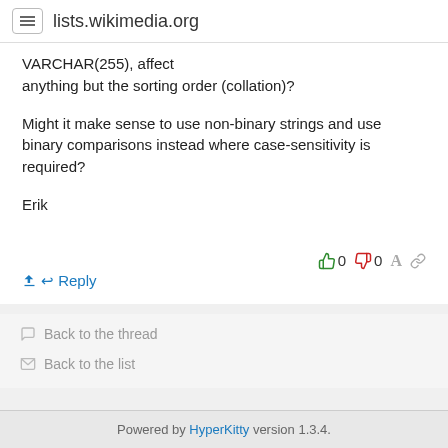lists.wikimedia.org
VARCHAR(255), affect anything but the sorting order (collation)?
Might it make sense to use non-binary strings and use binary comparisons instead where case-sensitivity is required?
Erik
0  0  [font icon] [link icon]
Reply
Back to the thread
Back to the list
Powered by HyperKitty version 1.3.4.